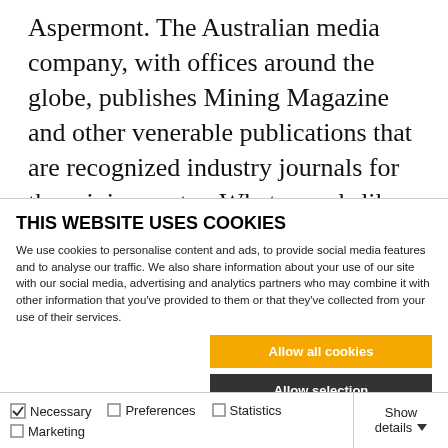Aspermont. The Australian media company, with offices around the globe, publishes Mining Magazine and other venerable publications that are recognized industry journals for the mining sector. What sounds like a somewhat dusty daily newspaper has been digital at Aspermont for many years. It is tailored to the needs of
THIS WEBSITE USES COOKIES
We use cookies to personalise content and ads, to provide social media features and to analyse our traffic. We also share information about your use of our site with our social media, advertising and analytics partners who may combine it with other information that you've provided to them or that they've collected from your use of their services.
[Figure (other): Cookie consent buttons: Allow all cookies (orange), Allow selection (dark gray), Use necessary cookies only (darker)]
Necessary (checked), Preferences (unchecked), Statistics (unchecked), Marketing (unchecked), Show details